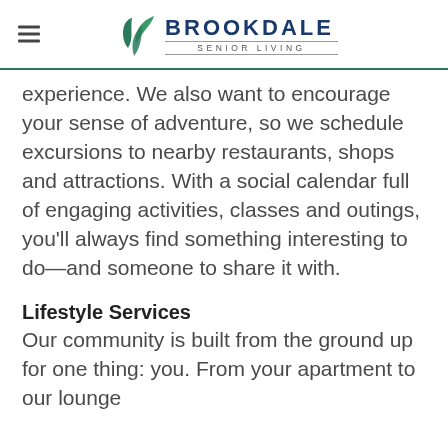Brookdale Senior Living
experience. We also want to encourage your sense of adventure, so we schedule excursions to nearby restaurants, shops and attractions. With a social calendar full of engaging activities, classes and outings, you'll always find something interesting to do—and someone to share it with.
Lifestyle Services
Our community is built from the ground up for one thing: you. From your apartment to our lounge